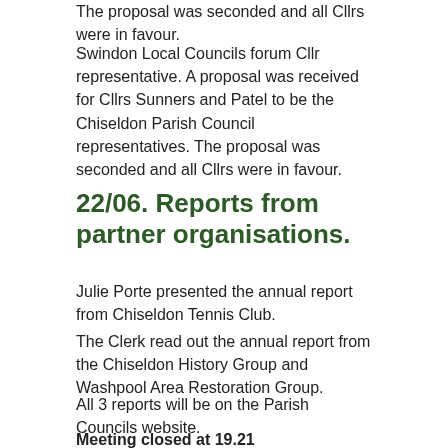The proposal was seconded and all Cllrs were in favour.
Swindon Local Councils forum Cllr representative. A proposal was received for Cllrs Sunners and Patel to be the Chiseldon Parish Council representatives. The proposal was seconded and all Cllrs were in favour.
22/06. Reports from partner organisations.
Julie Porte presented the annual report from Chiseldon Tennis Club.
The Clerk read out the annual report from the Chiseldon History Group and Washpool Area Restoration Group.
All 3 reports will be on the Parish Councils website.
Meeting closed at 19.21